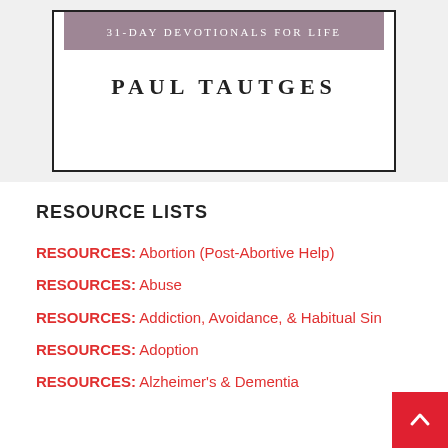[Figure (illustration): Book cover box with mauve/dusty rose banner reading '31-DAY DEVOTIONALS FOR LIFE' and author name 'PAUL TAUTGES' below]
RESOURCE LISTS
RESOURCES: Abortion (Post-Abortive Help)
RESOURCES: Abuse
RESOURCES: Addiction, Avoidance, & Habitual Sin
RESOURCES: Adoption
RESOURCES: Alzheimer's & Dementia